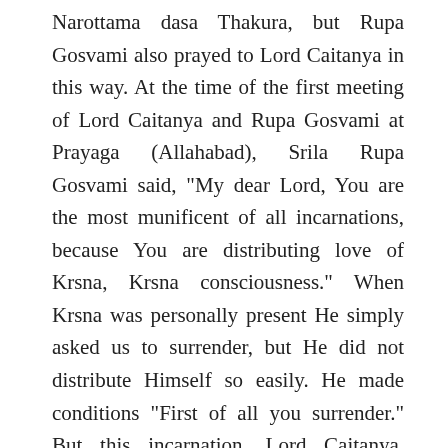Narottama dasa Thakura, but Rupa Gosvami also prayed to Lord Caitanya in this way. At the time of the first meeting of Lord Caitanya and Rupa Gosvami at Prayaga (Allahabad), Srila Rupa Gosvami said, "My dear Lord, You are the most munificent of all incarnations, because You are distributing love of Krsna, Krsna consciousness." When Krsna was personally present He simply asked us to surrender, but He did not distribute Himself so easily. He made conditions "First of all you surrender." But this incarnation, Lord Caitanya, although Krsna Himself, makes no such condition. He simply distributes: "Take love of Krsna." Therefore Lord Caitanya is approved as the most munificent incarnation. Narottama dasa Thakura says, "Please be merciful to me. You are so magnanimous because You have seen the, fallen souls of this age and are very much compassionate to them, but You should know also that I-am the-most fallen. No one is more greatly fallen than me." Patita-pavana-hetu tava avatara: "Your incarnation is just to reclaim the conditioned, fallen souls, but I assure You that You will not find a greater